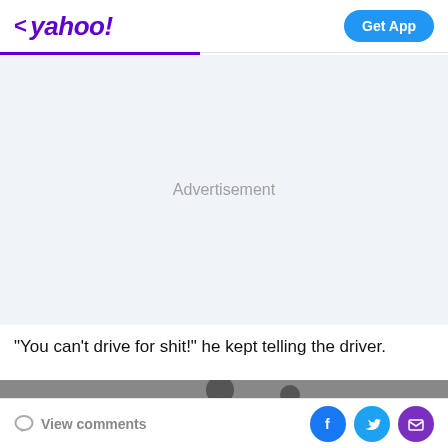< yahoo!  Get App
[Figure (other): Advertisement placeholder area with light blue-gray background and centered 'Advertisement' label text]
"You can't drive for shit!" he kept telling the driver.
[Figure (photo): Black and white photo strip showing a person, partially visible at bottom of page]
View comments  [Facebook share] [Twitter share] [Email share]